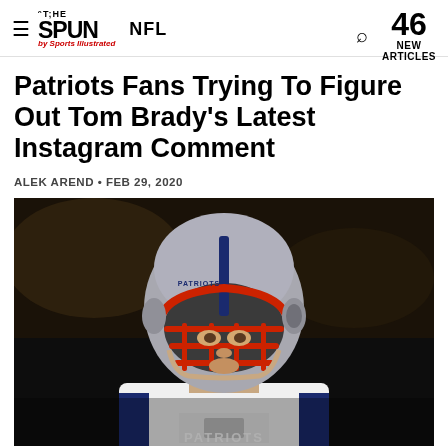THE SPUN by Sports Illustrated | NFL | 46 NEW ARTICLES
Patriots Fans Trying To Figure Out Tom Brady's Latest Instagram Comment
ALEK AREND • FEB 29, 2020
[Figure (photo): Tom Brady wearing a New England Patriots helmet (silver with red face mask) and white uniform, looking upward, in a dark stadium setting]